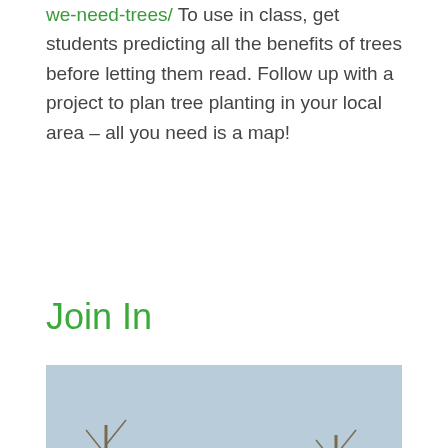we-need-trees/ To use in class, get students predicting all the benefits of trees before letting them read. Follow up with a project to plan tree planting in your local area – all you need is a map!
Join In
[Figure (photo): Children in green school uniforms planting trees in an open field. One child runs toward the camera while others crouch and dig in the background. Wooden stakes and tree guards are visible across the field.]